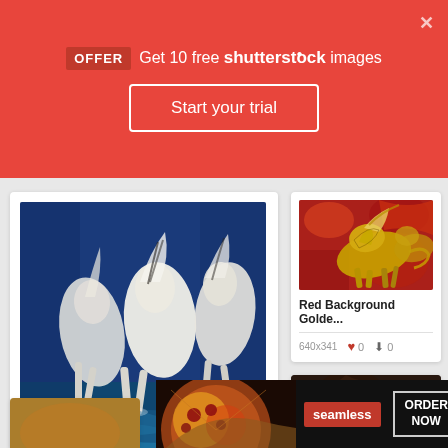[Figure (screenshot): Shutterstock promotional banner with OFFER label, Get 10 free shutterstock images text, Start your trial button, and close X button]
[Figure (photo): Running Horses Oil Painting - three white horses running on blue background, 1400x1400 image card with 0 likes and 0 downloads]
[Figure (photo): Red Background Golden horse painting card, 640x341 image with 0 likes and 0 downloads]
[Figure (photo): Dark horse painting card partially visible]
[Figure (advertisement): Seamless food delivery advertisement with pizza image, CLOSE button, ORDER NOW button]